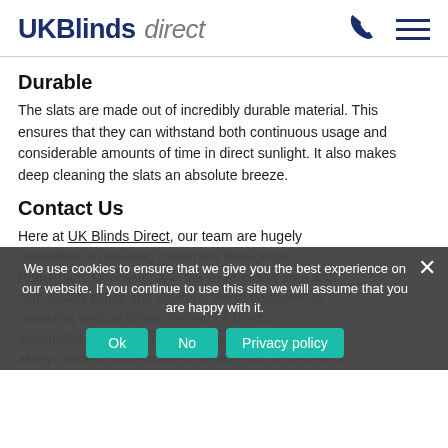UK Blinds direct
Durable
The slats are made out of incredibly durable material. This ensures that they can withstand both continuous usage and considerable amounts of time in direct sunlight. It also makes deep cleaning the slats an absolute breeze.
Contact Us
Here at UK Blinds Direct, our team are hugely committed to providing customers throughout Rotherham, Doncaster and the surrounding area with high-quality blinds and shutters. We're dedicated to supplying vertical blinds, Perfect Fit blinds, automated blinds and more. Customers will always benefit from excellent service, too. To receive a
We use cookies to ensure that we give you the best experience on our website. If you continue to use this site we will assume that you are happy with it.